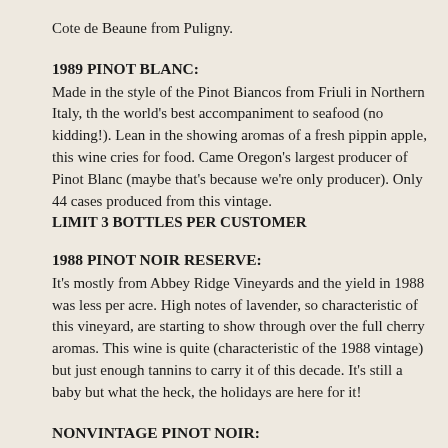Cote de Beaune from Puligny.
1989 PINOT BLANC:
Made in the style of the Pinot Biancos from Friuli in Northern Italy, the world's best accompaniment to seafood (no kidding!). Lean in the showing aromas of a fresh pippin apple, this wine cries for food. Came Oregon's largest producer of Pinot Blanc (maybe that's because we're only producer). Only 44 cases produced from this vintage.
LIMIT 3 BOTTLES PER CUSTOMER
1988 PINOT NOIR RESERVE:
It's mostly from Abbey Ridge Vineyards and the yield in 1988 was less per acre. High notes of lavender, so characteristic of this vineyard, are starting to show through over the full cherry aromas. This wine is quite (characteristic of the 1988 vintage) but just enough tannins to carry it of this decade. It's still a baby but what the heck, the holidays are here for it!
NONVINTAGE PINOT NOIR:
Take a barrel of 1987 Pinot noir for structure, throw in several barrels o